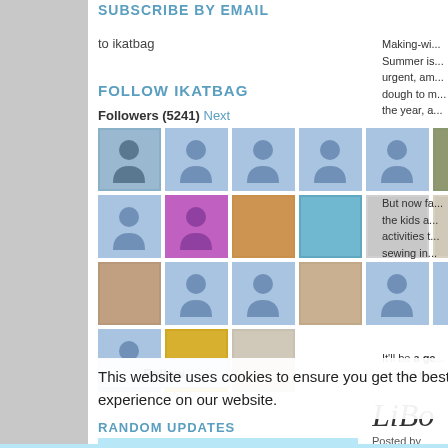SUBSCRIBE BY EMAIL
to ikatbag
FOLLOW IKATBAG
Followers (5241) Next
[Figure (screenshot): Grid of follower avatar thumbnails - 4 rows of 6 avatars each, mix of profile photos and blue placeholder icons]
This website uses cookies to ensure you get the best experience on our website.
RANDOM UPDATES
[Figure (screenshot): Twitter logo/button in light blue]
Got it!
Making-wi... Summer is... urgent, am... dough to m... the year, a...
But now fa... the kids a... activities t... sewing in...
It'll be a go... a good thi...
Posted by